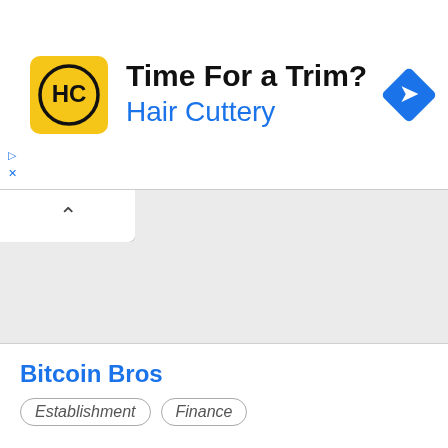[Figure (infographic): Hair Cuttery advertisement banner with yellow HC logo, 'Time For a Trim?' headline, 'Hair Cuttery' subtitle in blue, and a blue navigation/direction diamond icon on the right]
Bitcoin Bros
Establishment   Finance